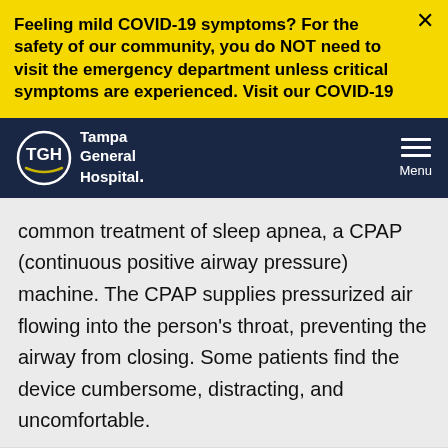Feeling mild COVID-19 symptoms? For the safety of our community, you do NOT need to visit the emergency department unless critical symptoms are experienced. Visit our COVID-19
[Figure (logo): Tampa General Hospital logo with TGH text inside a circle with a swoosh, white on dark navy background, with hamburger menu icon on the right]
common treatment of sleep apnea, a CPAP (continuous positive airway pressure) machine. The CPAP supplies pressurized air flowing into the person's throat, preventing the airway from closing. Some patients find the device cumbersome, distracting, and uncomfortable.
[Figure (infographic): Schedule an Appointment call-to-action with teal speech bubble icon and bold text]
Called Inspire, the compact design of the